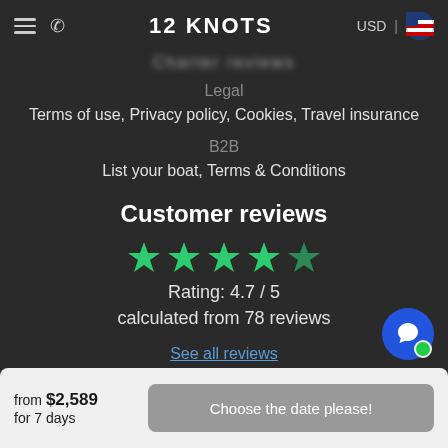12 KNOTS | USD
Charter reviews
Legal
Terms of use,  Privacy policy,  Cookies,  Travel insurance
B2B
List your boat,  Terms & Conditions
Customer reviews
[Figure (other): 5 green stars rating display]
Rating: 4.7 / 5
calculated from 78 reviews
See all reviews
from $2,589 for 7 days
Choose the date please!